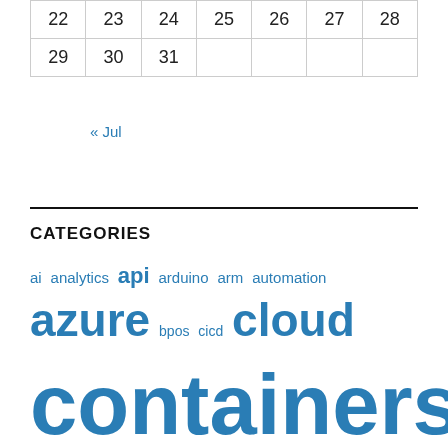| 22 | 23 | 24 | 25 | 26 | 27 | 28 |
| 29 | 30 | 31 |  |  |  |  |
« Jul
CATEGORIES
ai  analytics  api  arduino  arm  automation  azure  bpos  cicd  cloud  containers  cortana  dev